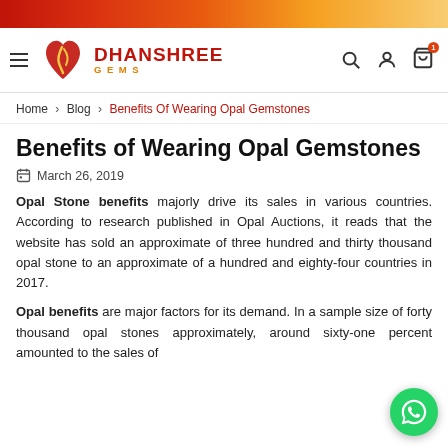[Figure (logo): Dhanshree Gems logo with navigation bar including hamburger menu, search, account, and cart icons]
Home › Blog › Benefits Of Wearing Opal Gemstones
Benefits of Wearing Opal Gemstones
March 26, 2019
Opal Stone benefits majorly drive its sales in various countries. According to research published in Opal Auctions, it reads that the website has sold an approximate of three hundred and thirty thousand opal stone to an approximate of a hundred and eighty-four countries in 2017.
Opal benefits are major factors for its demand. In a sample size of forty thousand opal stones approximately, around sixty-one percent amounted to the sales of